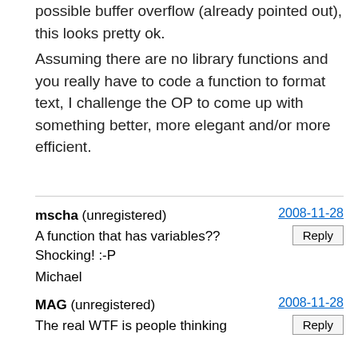possible buffer overflow (already pointed out), this looks pretty ok.
Assuming there are no library functions and you really have to code a function to format text, I challenge the OP to come up with something better, more elegant and/or more efficient.
mscha (unregistered)
A function that has variables?? Shocking! :-P

Michael
2008-11-28
Reply
MAG (unregistered)
The real WTF is people thinking
2008-11-28
Reply